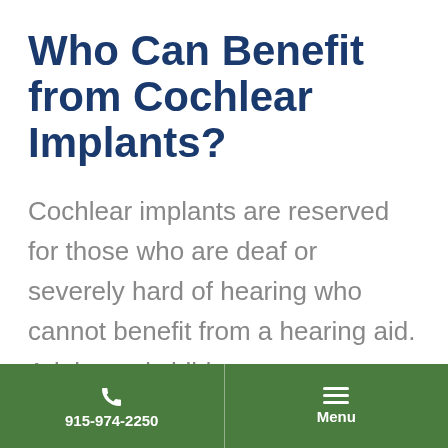Who Can Benefit from Cochlear Implants?
Cochlear implants are reserved for those who are deaf or severely hard of hearing who cannot benefit from a hearing aid. Adults and children as young as six months old can be fit with this device. The best candidates are highly motivated and have realistic expectations of what cochlear implants
915-974-2250  Menu